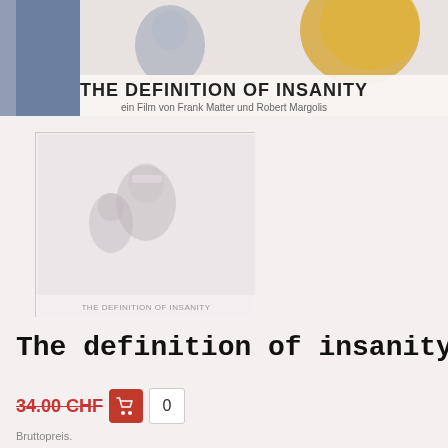[Figure (photo): Top banner showing movie poster for 'THE DEFINITION OF INSANITY' with text 'ein Film von Frank Matter und Robert Margolis']
[Figure (photo): Smaller thumbnail image of the movie cover showing two people, with text 'THE DEFINITION OF INSANITY' at bottom]
The definition of insanity
34.00 CHF
Bruttopreis.